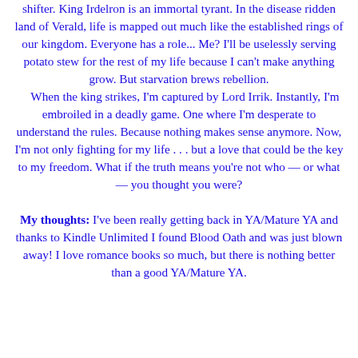shifter. King Irdelron is an immortal tyrant. In the disease ridden land of Verald, life is mapped out much like the established rings of our kingdom. Everyone has a role... Me? I'll be uselessly serving potato stew for the rest of my life because I can't make anything grow. But starvation brews rebellion.
When the king strikes, I'm captured by Lord Irrik. Instantly, I'm embroiled in a deadly game. One where I'm desperate to understand the rules. Because nothing makes sense anymore. Now, I'm not only fighting for my life . . . but a love that could be the key to my freedom. What if the truth means you're not who — or what — you thought you were?
My thoughts: I've been really getting back in YA/Mature YA and thanks to Kindle Unlimited I found Blood Oath and was just blown away! I love romance books so much, but there is nothing better than a good YA/Mature YA.